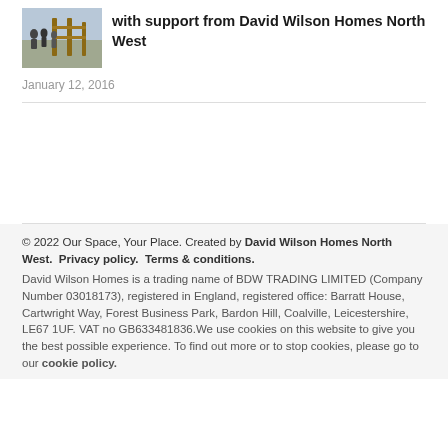[Figure (photo): Small thumbnail photo of people standing near a wooden structure or fence outdoors]
with support from David Wilson Homes North West
January 12, 2016
© 2022 Our Space, Your Place. Created by David Wilson Homes North West.  Privacy policy.  Terms & conditions.
David Wilson Homes is a trading name of BDW TRADING LIMITED (Company Number 03018173), registered in England, registered office: Barratt House, Cartwright Way, Forest Business Park, Bardon Hill, Coalville, Leicestershire, LE67 1UF. VAT no GB633481836.We use cookies on this website to give you the best possible experience. To find out more or to stop cookies, please go to our cookie policy.